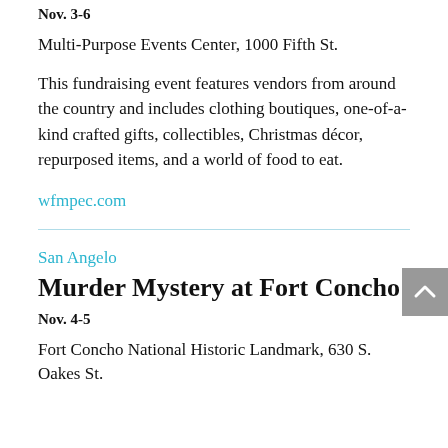Nov. 3-6
Multi-Purpose Events Center, 1000 Fifth St.
This fundraising event features vendors from around the country and includes clothing boutiques, one-of-a-kind crafted gifts, collectibles, Christmas décor, repurposed items, and a world of food to eat.
wfmpec.com
San Angelo
Murder Mystery at Fort Concho
Nov. 4-5
Fort Concho National Historic Landmark, 630 S. Oakes St.